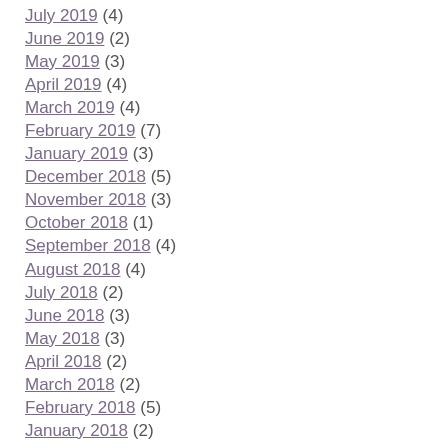July 2019 (4)
June 2019 (2)
May 2019 (3)
April 2019 (4)
March 2019 (4)
February 2019 (7)
January 2019 (3)
December 2018 (5)
November 2018 (3)
October 2018 (1)
September 2018 (4)
August 2018 (4)
July 2018 (2)
June 2018 (3)
May 2018 (3)
April 2018 (2)
March 2018 (2)
February 2018 (5)
January 2018 (2)